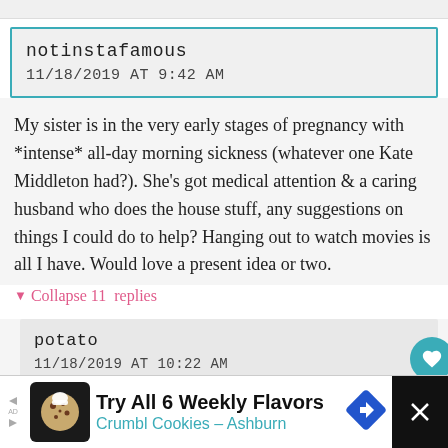notinstafamous
11/18/2019 AT 9:42 AM
My sister is in the very early stages of pregnancy with *intense* all-day morning sickness (whatever one Kate Middleton had?). She's got medical attention & a caring husband who does the house stuff, any suggestions on things I could do to help? Hanging out to watch movies is all I have. Would love a present idea or two.
▼ Collapse 11 replies
potato
11/18/2019 AT 10:22 AM
Honestly, I might ask the husband if you can treat them to a house cleaner or something. Obviously
[Figure (infographic): Advertisement banner: Try All 6 Weekly Flavors - Crumbl Cookies - Ashburn, with cookie logo icon and navigation arrow icon]